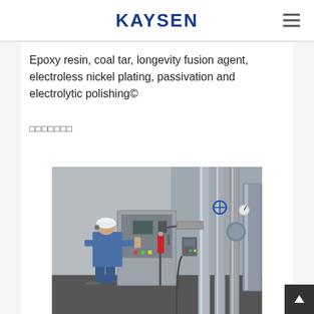KAYSEN
Epoxy resin, coal tar, longevity fusion agent, electroless nickel plating, passivation and electrolytic polishing©
□□□□□□□
[Figure (photo): Industrial worker in hard hat and blue uniform operating a control panel with gauges and valves in a large pipe facility]